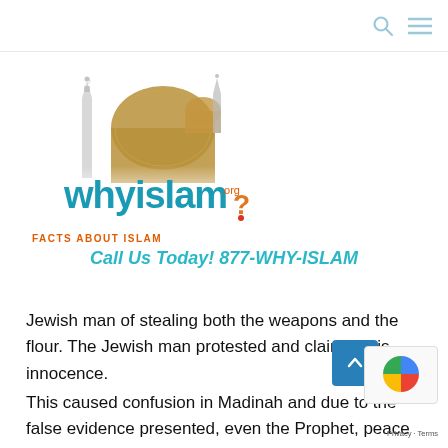[Figure (logo): WhyIslam.org logo with mosque/minaret silhouette and orange question mark. Tagline: FACTS ABOUT ISLAM]
Call Us Today! 877-WHY-ISLAM
Jewish man of stealing both the weapons and the flour. The Jewish man protested and claimed his innocence.
This caused confusion in Madinah and due to the false evidence presented, even the Prophet, peace be upon him, was inclining towards believing the